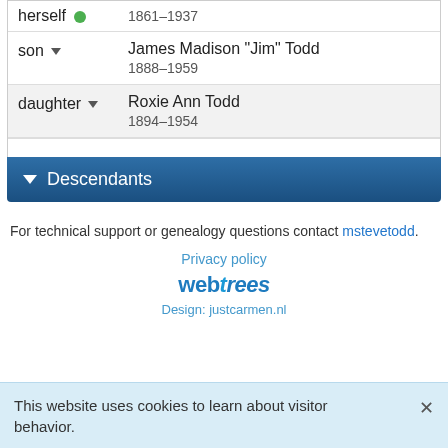| Relationship | Name | Dates |
| --- | --- | --- |
| herself |  | 1861–1937 |
| son | James Madison "Jim" Todd | 1888–1959 |
| daughter | Roxie Ann Todd | 1894–1954 |
Descendants
For technical support or genealogy questions contact mstevetodd.
Privacy policy
[Figure (logo): webtrees logo in blue stylized text]
Design: justcarmen.nl
This website uses cookies to learn about visitor behavior.